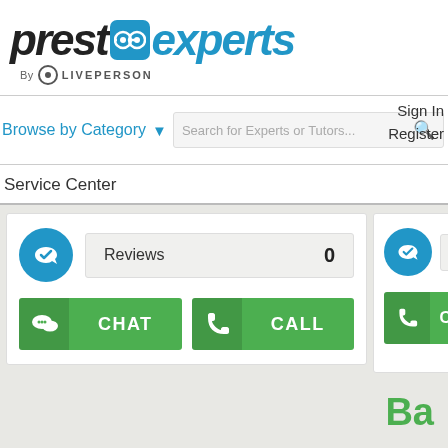[Figure (logo): PrestoExperts by LivePerson logo — stylized italic text with a blue rounded square icon containing glasses, followed by 'experts' in blue, and 'by LivePerson' below in small caps]
Browse by Category
Search for Experts or Tutors...
Sign In
Register
Service Center
Reviews   0
CHAT
CALL
Reviews
CA...
Ba...